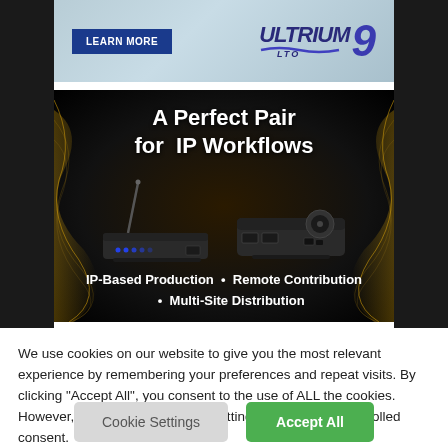[Figure (advertisement): LTO Ultrium 9 advertisement banner with 'LEARN MORE' button in blue and Ultrium LTO 9 logo]
[Figure (advertisement): IP Workflows advertisement on black background with gold wave design. Title: 'A Perfect Pair for IP Workflows'. Shows two networking devices. Text: 'IP-Based Production • Remote Contribution • Multi-Site Distribution']
We use cookies on our website to give you the most relevant experience by remembering your preferences and repeat visits. By clicking "Accept All", you consent to the use of ALL the cookies. However, you may visit "Cookie Settings" to provide a controlled consent.
Cookie Settings
Accept All